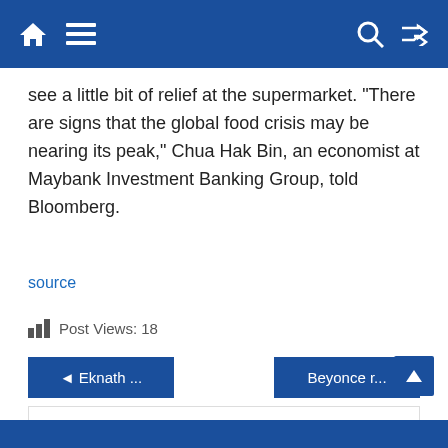Home | Menu | Search | Shuffle
see a little bit of relief at the supermarket. "There are signs that the global food crisis may be nearing its peak," Chua Hak Bin, an economist at Maybank Investment Banking Group, told Bloomberg.
source
Post Views: 18
◄ Eknath ...
Beyonce r...
Tech4mag
http://tech4mag.com